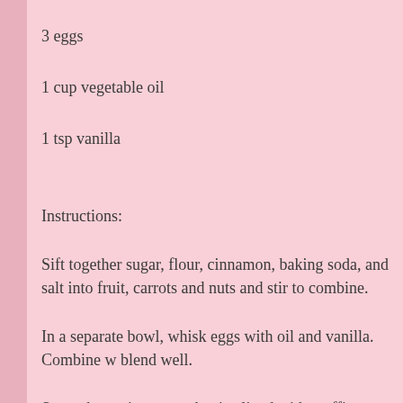3 eggs
1 cup vegetable oil
1 tsp vanilla
Instructions:
Sift together sugar, flour, cinnamon, baking soda, and salt into fruit, carrots and nuts and stir to combine.
In a separate bowl, whisk eggs with oil and vanilla. Combine w blend well.
Spoon batter into cupcake tins lined with muffin papers. Fill e